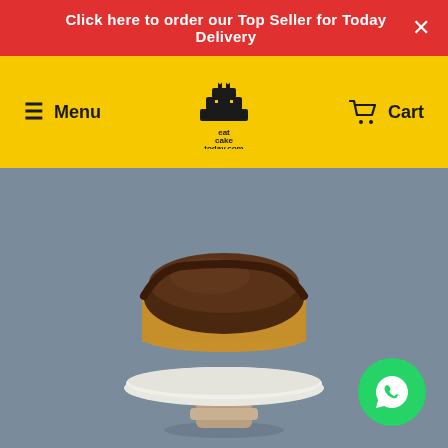Click here to order our Top Seller for Today Delivery
Menu | eatcaketoday.com | Cart
[Figure (photo): A chocolate-topped cheesecake on a white marble cake stand with a wooden pedestal, photographed on a grey background]
[Figure (logo): WhatsApp contact button — green circle with white WhatsApp phone icon]